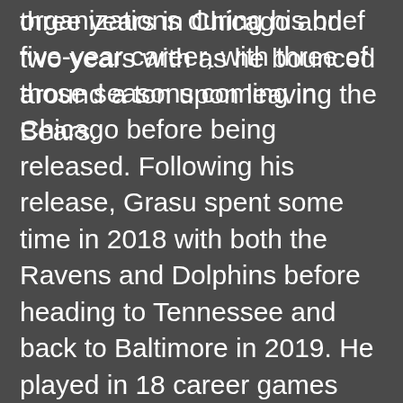three years in Chicago and two years with as he bounced around a ton upon leaving the Bears.
His career spanned five organizations during his brief five-year career, with three of those seasons coming in Chicago before being released. Following his release, Grasu spent some time in 2018 with both the Ravens and Dolphins before heading to Tennessee and back to Baltimore in 2019. He played in 18 career games